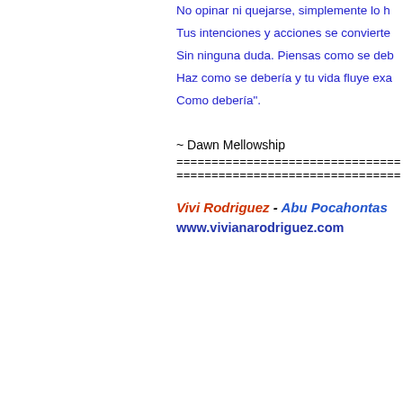No opinar ni quejarse, simplemente lo h
Tus intenciones y acciones se convierte
Sin ninguna duda. Piensas como se deb
Haz como se debería y tu vida fluye exa
Como debería".
~ Dawn Mellowship
================================
================================
Vivi Rodriguez - Abu Pocahontas
www.vivianarodriguez.com